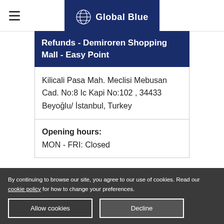Global Blue
Refunds - Demiroren Shopping Mall - Easy Point
Kilicali Pasa Mah. Meclisi Mebusan Cad. No:8 Ic Kapi No:102 , 34433 Beyoğlu/ İstanbul, Turkey
Opening hours:
MON - FRI: Closed
By continuing to browse our site, you agree to our use of cookies. Read our cookie policy for how to change your preferences.